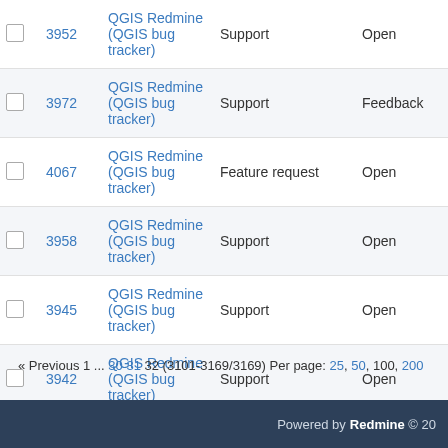|  | # | Tracker | Type | Status |
| --- | --- | --- | --- | --- |
|  | 3952 | QGIS Redmine (QGIS bug tracker) | Support | Open |
|  | 3972 | QGIS Redmine (QGIS bug tracker) | Support | Feedback |
|  | 4067 | QGIS Redmine (QGIS bug tracker) | Feature request | Open |
|  | 3958 | QGIS Redmine (QGIS bug tracker) | Support | Open |
|  | 3945 | QGIS Redmine (QGIS bug tracker) | Support | Open |
|  | 3942 | QGIS Redmine (QGIS bug tracker) | Support | Open |
|  | 3941 | QGIS Redmine (QGIS bug tracker) | Support | Open |
« Previous 1 ... 30 31 32 (3101-3169/3169) Per page: 25, 50, 100, 200
Powered by Redmine © 20